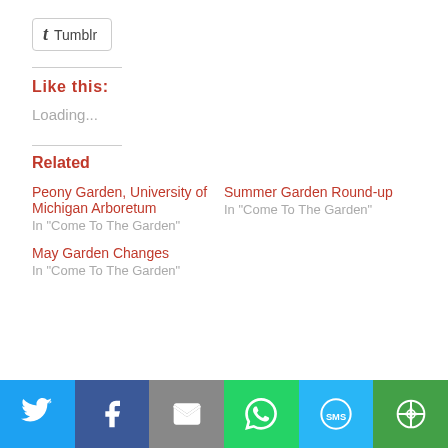[Figure (other): Tumblr share button with tumblr 't' icon and text 'Tumblr']
Like this:
Loading...
Related
Peony Garden, University of Michigan Arboretum
In "Come To The Garden"
Summer Garden Round-up
In "Come To The Garden"
May Garden Changes
In "Come To The Garden"
[Figure (other): Social share bar with Twitter, Facebook, Email, WhatsApp, SMS, and More buttons]